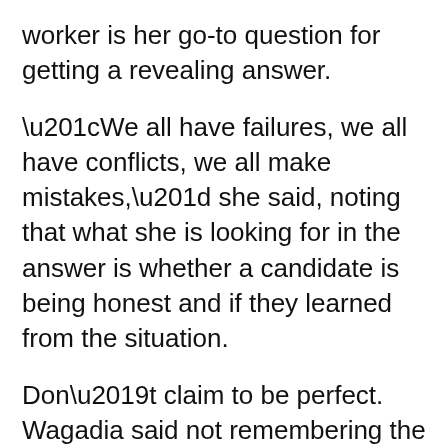worker is her go-to question for getting a revealing answer.
“We all have failures, we all have conflicts, we all make mistakes,” she said, noting that what she is looking for in the answer is whether a candidate is being honest and if they learned from the situation.
Don’t claim to be perfect. Wagadia said not remembering the last time you made a mistake is a red flag for her.
“That tells me they either don’t know that they have made a mistake — they are oblivious or cannot introspect — or they know, and are intentionally lying to make themselves look good. Which tells me they could potentially lie in the future about something else,” she said.
To show self-awareness, Wagadia recommends picking a mistake that was a more serious mistake...